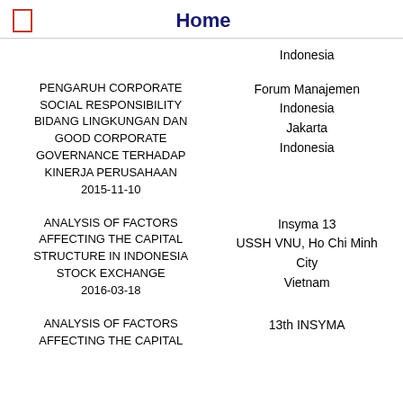Home
Indonesia
PENGARUH CORPORATE SOCIAL RESPONSIBILITY BIDANG LINGKUNGAN DAN GOOD CORPORATE GOVERNANCE TERHADAP KINERJA PERUSAHAAN 2015-11-10
Forum Manajemen Indonesia Jakarta Indonesia
ANALYSIS OF FACTORS AFFECTING THE CAPITAL STRUCTURE IN INDONESIA STOCK EXCHANGE 2016-03-18
Insyma 13 USSH VNU, Ho Chi Minh City Vietnam
ANALYSIS OF FACTORS AFFECTING THE CAPITAL
13th INSYMA